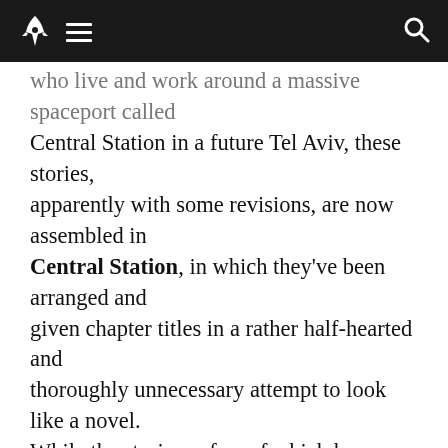[navigation bar with rocket logo, menu icon, search icon]
who live and work around a massive spaceport called Central Station in a future Tel Aviv, these stories, apparently with some revisions, are now assembled in Central Station, in which they've been arranged and given chapter titles in a rather half-hearted and thoroughly unnecessary attempt to look like a novel. While the stories, a few of which have been included in multiple “year’s best” anthologies, stand quite well on their own, they do gain considerable resonance together, as with the best such story cycles from Sherwood Anderson to, perhaps more immediately relevant, Clifford Simak or Cordwainer Smith. There are more than a few nods to Smith in Central Station, from references to outer space as the Up and Out, to semi-legendary figures like St. Cohen of the Others, to classically Smith-like drop-kick sentences, such as, “She emerged from the virtuality years or decades later; or it